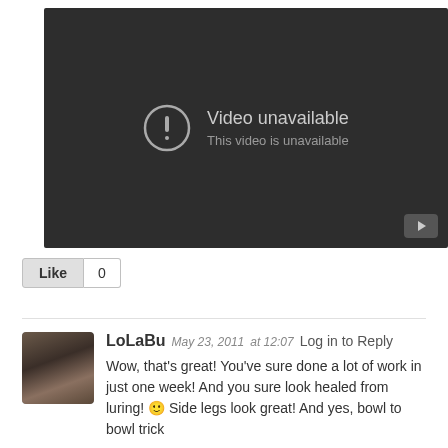[Figure (screenshot): YouTube video player showing 'Video unavailable' error message. Dark background with exclamation circle icon, title 'Video unavailable', subtitle 'This video is unavailable', and a small YouTube play button in bottom right corner.]
Like  0
LoLaBu May 23, 2011 at 12:07 Log in to Reply
Wow, that's great! You've sure done a lot of work in just one week! And you sure look healed from luring! 🙂 Side legs look great! And yes, bowl to bowl trick